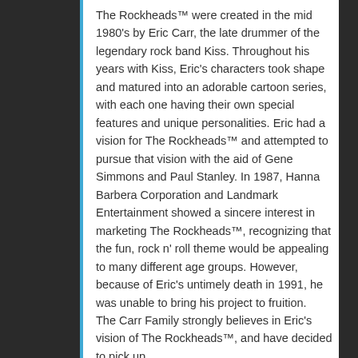The Rockheads™ were created in the mid 1980's by Eric Carr, the late drummer of the legendary rock band Kiss. Throughout his years with Kiss, Eric's characters took shape and matured into an adorable cartoon series, with each one having their own special features and unique personalities. Eric had a vision for The Rockheads™ and attempted to pursue that vision with the aid of Gene Simmons and Paul Stanley. In 1987, Hanna Barbera Corporation and Landmark Entertainment showed a sincere interest in marketing The Rockheads™, recognizing that the fun, rock n' roll theme would be appealing to many different age groups. However, because of Eric's untimely death in 1991, he was unable to bring his project to fruition. The Carr Family strongly believes in Eric's vision of The Rockheads™, and have decided to pick up